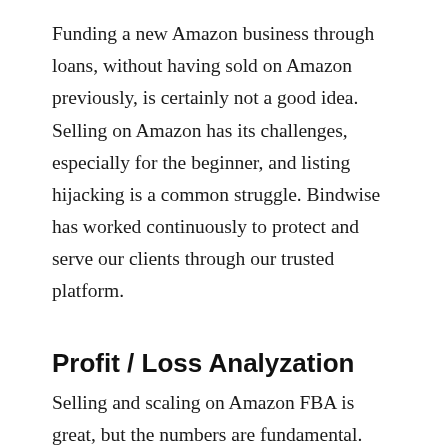Funding a new Amazon business through loans, without having sold on Amazon previously, is certainly not a good idea. Selling on Amazon has its challenges, especially for the beginner, and listing hijacking is a common struggle. Bindwise has worked continuously to protect and serve our clients through our trusted platform.
Profit / Loss Analyzation
Selling and scaling on Amazon FBA is great, but the numbers are fundamental. You'll need to keep track of fees, expenses, supplier charges, competition and returns. Our recommendation is a